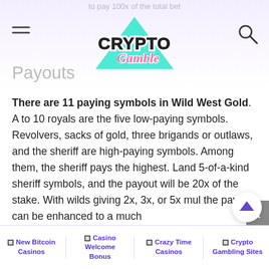to pay 100x of the total bet
[Figure (logo): CryptoGamble logo with teal triangle background and pink script lettering]
Payouts
There are 11 paying symbols in Wild West Gold. A to 10 royals are the five low-paying symbols. Revolvers, sacks of gold, three brigands or outlaws, and the sheriff are high-paying symbols. Among them, the sheriff pays the highest. Land 5-of-a-kind sheriff symbols, and the payout will be 20x of the stake. With wilds giving 2x, 3x, or 5x multipliers, the payout can be enhanced to a much
New Bitcoin Casinos | Casino Welcome Bonus | Crazy Time Casinos | Crypto Gambling Sites